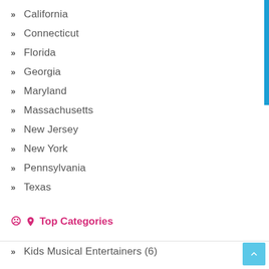California
Connecticut
Florida
Georgia
Maryland
Massachusetts
New Jersey
New York
Pennsylvania
Texas
Top Categories
Kids Musical Entertainers (6)